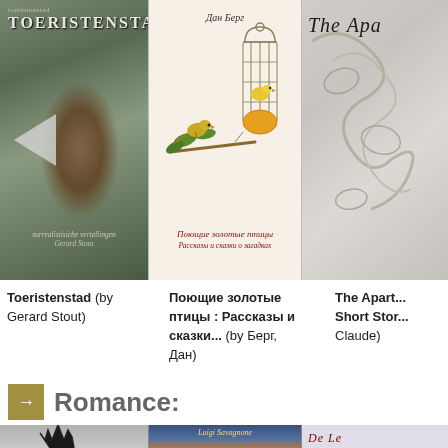[Figure (photo): Book cover: TOERISTENSTAD, dark greenish abstract cover with text 'surrealistisiche vertellingen Gerard Stout']
[Figure (illustration): Book cover: Поющие золотые птицы (Singing Golden Birds) by Дан Берг, featuring a bird on a branch next to a bird cage with a golden bird inside]
[Figure (photo): Book cover: The Apart... (title cut off), decorative swirling pattern]
Toeristenstad (by Gerard Stout)
Поющие золотые птицы : Рассказы и сказки... (by Берг, Дан)
The Apart... Short Stor... Claude)
Romance:
[Figure (photo): Book cover partially visible: dark grey background with antler silhouette]
[Figure (photo): Book cover: Luigi Savagnone, dark blue/orange sky background]
[Figure (photo): Book cover: De Le... (title cut off), light purple/lavender background]